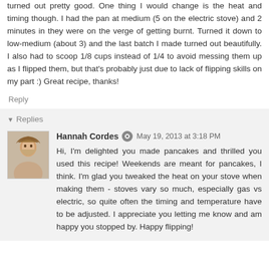turned out pretty good. One thing I would change is the heat and timing though. I had the pan at medium (5 on the electric stove) and 2 minutes in they were on the verge of getting burnt. Turned it down to low-medium (about 3) and the last batch I made turned out beautifully. I also had to scoop 1/8 cups instead of 1/4 to avoid messing them up as I flipped them, but that's probably just due to lack of flipping skills on my part :) Great recipe, thanks!
Reply
Replies
Hannah Cordes  May 19, 2013 at 3:18 PM
Hi, I'm delighted you made pancakes and thrilled you used this recipe! Weekends are meant for pancakes, I think. I'm glad you tweaked the heat on your stove when making them - stoves vary so much, especially gas vs electric, so quite often the timing and temperature have to be adjusted. I appreciate you letting me know and am happy you stopped by. Happy flipping!